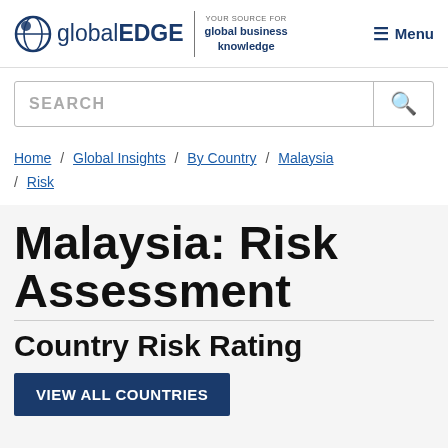[Figure (logo): globalEDGE logo with globe icon, tagline 'YOUR SOURCE FOR global business knowledge', and Menu button]
SEARCH
Home / Global Insights / By Country / Malaysia / Risk
Malaysia: Risk Assessment
Country Risk Rating
VIEW ALL COUNTRIES